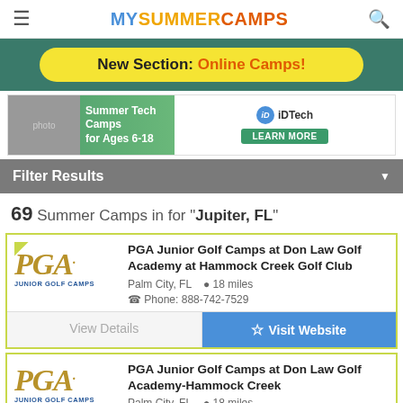MYSUMMERCAMPS
New Section: Online Camps!
[Figure (screenshot): iD Tech Summer Tech Camps for Ages 6-18 advertisement banner]
Filter Results
69 Summer Camps in for "Jupiter, FL"
PGA Junior Golf Camps at Don Law Golf Academy at Hammock Creek Golf Club
Palm City, FL  18 miles
Phone: 888-742-7529
View Details   Visit Website
PGA Junior Golf Camps at Don Law Golf Academy-Hammock Creek
Palm City, FL  18 miles